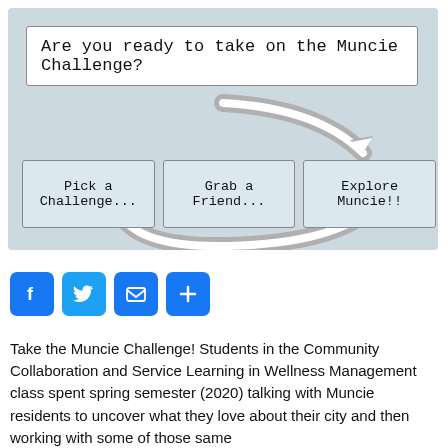[Figure (flowchart): Circular flowchart with title 'Are you ready to take on the Muncie Challenge?' and three steps: 'Pick a Challenge...', 'Grab a Friend...', 'Explore Muncie!!' with curved arrows connecting them in a cycle]
[Figure (infographic): Social sharing buttons: Facebook, Twitter, Email, and Share (+)]
Take the Muncie Challenge! Students in the Community Collaboration and Service Learning in Wellness Management class spent spring semester (2020) talking with Muncie residents to uncover what they love about their city and then working with some of those same